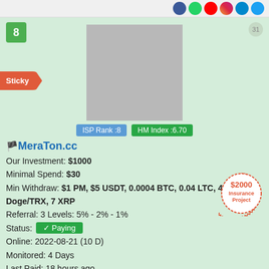[Figure (screenshot): Social media icon circles in top bar (Facebook, WhatsApp, YouTube, Instagram, Telegram, Twitter)]
8
31
Sticky
[Figure (photo): Gray placeholder image for MeraTon.cc logo]
ISP Rank :8
HM Index :6.70
MeraTon.cc
Our Investment: $1000
Minimal Spend: $30
Min Withdraw: $1 PM, $5 USDT, 0.0004 BTC, 0.04 LTC, 40 Doge/TRX, 7 XRP
Referral: 3 Levels: 5% - 2% - 1%
Status: Paying
Online: 2022-08-21 (10 D)
Monitored: 4 Days
Last Paid: 18 hours ago
[Figure (illustration): $2000 Insurance Project stamp/seal in red]
Payout: 163%